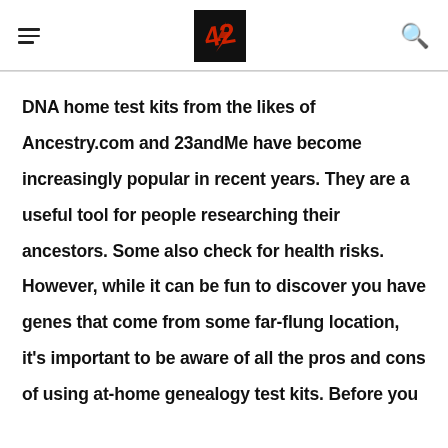[hamburger menu] [logo] [search icon]
DNA home test kits from the likes of Ancestry.com and 23andMe have become increasingly popular in recent years. They are a useful tool for people researching their ancestors. Some also check for health risks. However, while it can be fun to discover you have genes that come from some far-flung location, it’s important to be aware of all the pros and cons of using at-home genealogy test kits. Before you